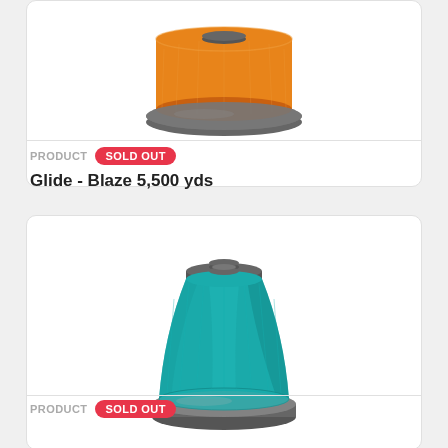[Figure (photo): Orange thread spool on gray base, top portion visible, product card]
PRODUCT   SOLD OUT
Glide - Blaze 5,500 yds
[Figure (photo): Teal/green thread spool on gray base, full spool visible in white product card]
PRODUCT   SOLD OUT